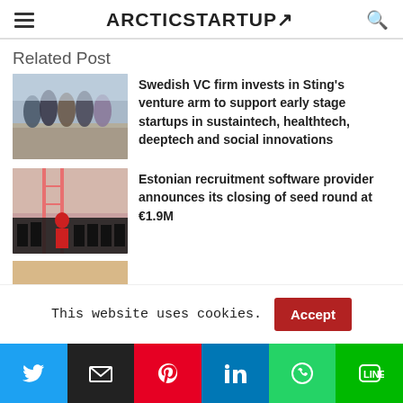ARCTICSTARTUP
Related Post
[Figure (photo): Group of five people standing outdoors]
Swedish VC firm invests in Sting's venture arm to support early stage startups in sustaintech, healthtech, deeptech and social innovations
[Figure (photo): Team of young people in black t-shirts with a woman in red dress]
Estonian recruitment software provider announces its closing of seed round at €1.9M
[Figure (photo): Partial image of a third post]
This website uses cookies.
Accept